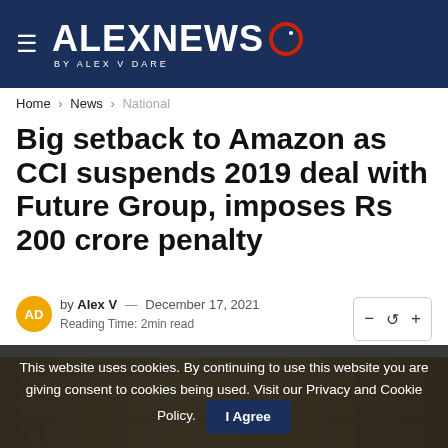[Figure (logo): AlexNews logo with hamburger menu icon on dark navy blue background. Large white bold text ALEXNEWS with a red/blue bird icon to the right. Subtitle: BY ALEX V DARE]
Home > News > National
Big setback to Amazon as CCI suspends 2019 deal with Future Group, imposes Rs 200 crore penalty
by Alex V — December 17, 2021
Reading Time: 2min read
[Figure (photo): Partial photo of Amazon packaging/boxes in warm golden tones, partially obscured by cookie consent banner]
This website uses cookies. By continuing to use this website you are giving consent to cookies being used. Visit our Privacy and Cookie Policy.   I Agree